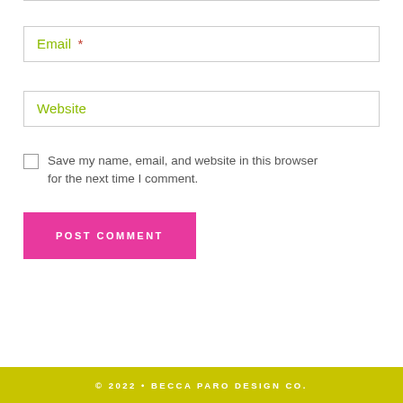Email *
Website
Save my name, email, and website in this browser for the next time I comment.
POST COMMENT
© 2022 • BECCA PARO DESIGN CO.